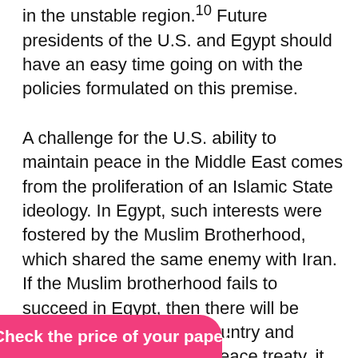in the unstable region.10 Future presidents of the U.S. and Egypt should have an easy time going on with the policies formulated on this premise.
A challenge for the U.S. ability to maintain peace in the Middle East comes from the proliferation of an Islamic State ideology. In Egypt, such interests were fostered by the Muslim Brotherhood, which shared the same enemy with Iran. If the Muslim brotherhood fails to succeed in Egypt, then there will be animosity between the country and Israel. In addition to the peace treaty, it will be difficult for the U.S. to explain its intention to support Israel and Egypt at the same time. Therefore, the only solution for peace is to promote a situation that does not involve the advancement of an Islamic state. Egypt should continue pursuing state interests, while it [obscured], worship, and [obscured]ople.11
Check the price of your paper